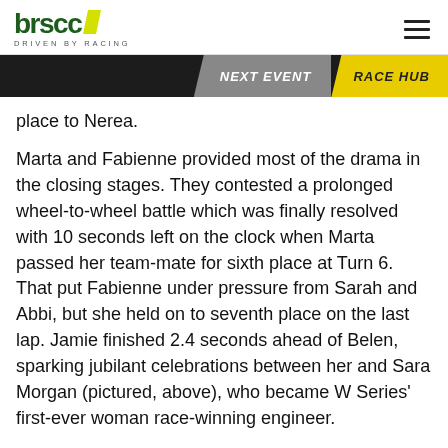brscc DRIVEN BY RACING
place to Nerea.
Marta and Fabienne provided most of the drama in the closing stages. They contested a prolonged wheel-to-wheel battle which was finally resolved with 10 seconds left on the clock when Marta passed her team-mate for sixth place at Turn 6. That put Fabienne under pressure from Sarah and Abbi, but she held on to seventh place on the last lap. Jamie finished 2.4 seconds ahead of Belen, sparking jubilant celebrations between her and Sara Morgan (pictured, above), who became W Series' first-ever woman race-winning engineer.